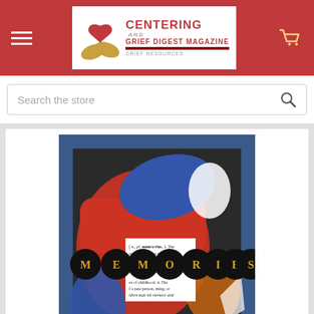Centering and Grief Digest Magazine - navigation header with hamburger menu, logo, and cart icon
Search the store
[Figure (illustration): Book cover or artwork titled MEMORIES. Blue-framed artwork with abstract red, blue, white, and orange painted shapes. In the center is a clipped dictionary definition text snippet for the word 'mem-o-ries' overlaid with large black circular letter buttons spelling out M-E-M-O-R-I-E-S in gold letters.]